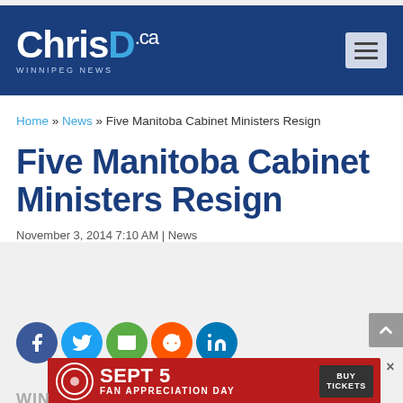[Figure (logo): ChrisD.ca Winnipeg News logo on dark blue header background with hamburger menu icon]
Home » News » Five Manitoba Cabinet Ministers Resign
Five Manitoba Cabinet Ministers Resign
November 3, 2014 7:10 AM | News
[Figure (infographic): Social sharing icons row: Facebook (blue), Twitter (light blue), Email (green), Reddit (orange), LinkedIn (blue)]
[Figure (infographic): Red advertisement banner: SEPT 5 FAN APPRECIATION DAY with BUY TICKETS button and circular logo on left]